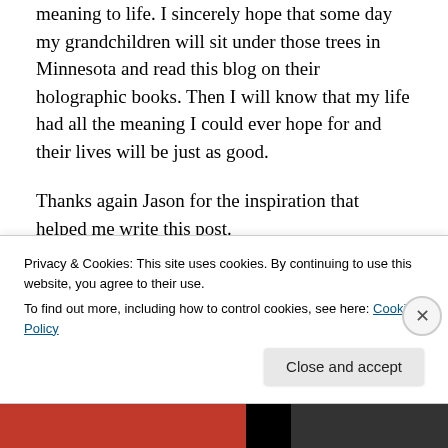meaning to life. I sincerely hope that some day my grandchildren will sit under those trees in Minnesota and read this blog on their holographic books. Then I will know that my life had all the meaning I could ever hope for and their lives will be just as good.
Thanks again Jason for the inspiration that helped me write this post.
©Guy R. Horst and grhgraph.wordpress.com, 2019. Unauthorized use and/or duplication of this material without express and written permission from this blog's
Privacy & Cookies: This site uses cookies. By continuing to use this website, you agree to their use.
To find out more, including how to control cookies, see here: Cookie Policy